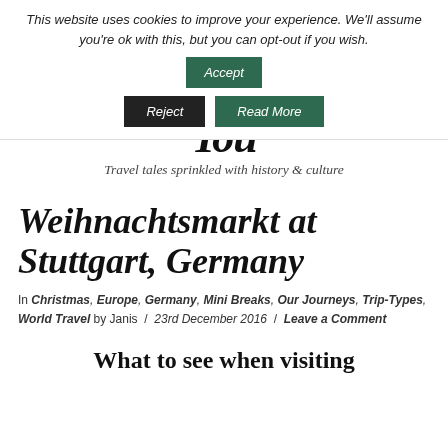This website uses cookies to improve your experience. We'll assume you're ok with this, but you can opt-out if you wish. Accept Reject Read More
You
Travel tales sprinkled with history & culture
Weihnachtsmarkt at Stuttgart, Germany
In Christmas, Europe, Germany, Mini Breaks, Our Journeys, Trip-Types, World Travel by Janis / 23rd December 2016 / Leave a Comment
What to see when visiting